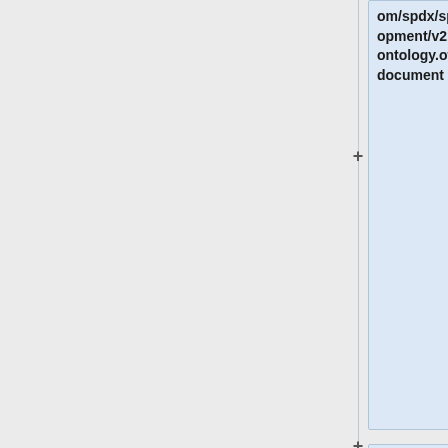om/spdx/spdx-spec/blob/development/v2.2.1/ontology/spdx-ontology.owl.xml Current RDF/OWL document for SPDX spec]
* [https://github.com/spdx/spdx-spec/tree/development/v3.0/chapters Markdown for version 3.0] - subject to change as we specify the markdown constraints for